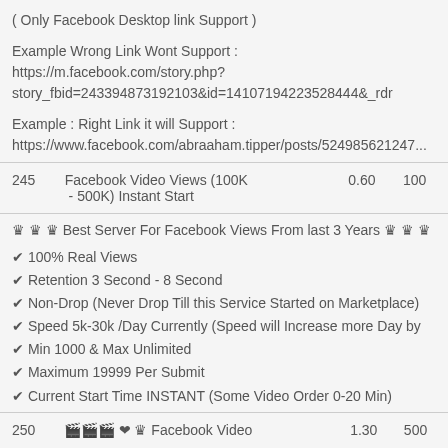( Only Facebook Desktop link Support )
Example Wrong Link Wont Support :
https://m.facebook.com/story.php?story_fbid=243394873192103&id=14107194223528444&_rdr
Example : Right Link it will Support :
https://www.facebook.com/abraaham.tipper/posts/52498562124...
| ID | Description | Price | Min |
| --- | --- | --- | --- |
| 245 | Facebook Video Views (100K - 500K) Instant Start | 0.60 | 100 |
♛ ♛ ♛ Best Server For Facebook Views From last 3 Years ♛ ♛ ♛
✔ 100% Real Views
✔ Retention 3 Second - 8 Second
✔ Non-Drop (Never Drop Till this Service Started on Marketplace)
✔ Speed 5k-30k /Day Currently (Speed will Increase more Day by Day)
✔ Min 1000 & Max Unlimited
✔ Maximum 19999 Per Submit
✔ Current Start Time INSTANT (Some Video Order 0-20 Min)
| ID | Description | Price | Min |
| --- | --- | --- | --- |
| 250 | 🎬🎬🎬 ❤ ♛ Facebook Video | 1.30 | 500 |